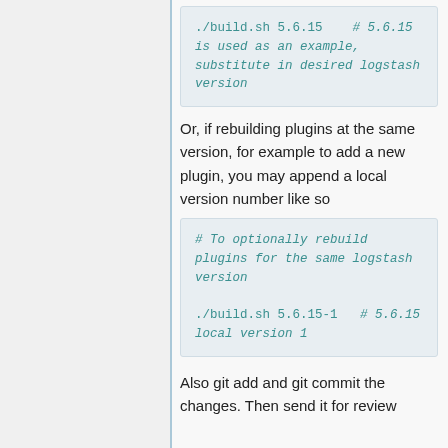[Figure (screenshot): Code block showing: ./build.sh 5.6.15   # 5.6.15 is used as an example, substitute in desired logstash version]
Or, if rebuilding plugins at the same version, for example to add a new plugin, you may append a local version number like so
[Figure (screenshot): Code block showing: # To optionally rebuild plugins for the same logstash version
./build.sh 5.6.15-1   # 5.6.15 local version 1]
Also git add and git commit the changes. Then send it for review